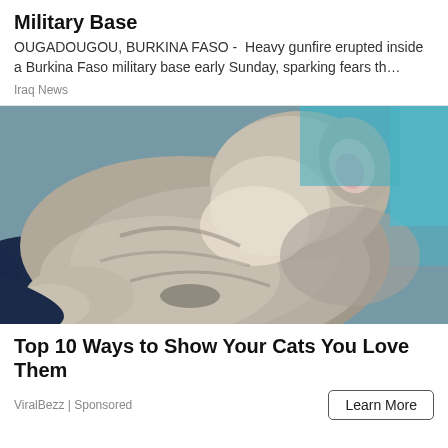Military Base
OUGADOUGOU, BURKINA FASO -  Heavy gunfire erupted inside a Burkina Faso military base early Sunday, sparking fears th…
Iraq News
[Figure (photo): Close-up photo of a gray tabby cat sleeping curled up, with visible ear, fur, and paws, against a blue background and dark navy fabric]
Top 10 Ways to Show Your Cats You Love Them
ViralBezz | Sponsored